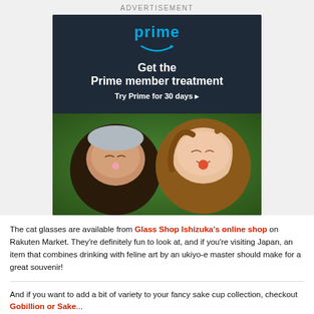ADVERTISEMENT
[Figure (infographic): Amazon Prime advertisement banner with dark navy background showing 'prime' logo with blue arrow, text 'Get the Prime member treatment', 'Try Prime for 30 days ▸', and a photo of two people lying on grass blowing bubbles.]
The cat glasses are available from Glass Shop Ishizuka's online shop on Rakuten Market. They're definitely fun to look at, and if you're visiting Japan, an item that combines drinking with feline art by an ukiyo-e master should make for a great souvenir!
And if you want to add a bit of variety to your fancy sake cup collection, checkout Gobillion or Sake...